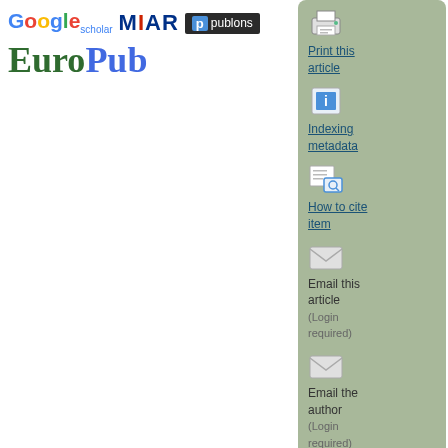[Figure (logo): Google Scholar logo (colorful letters)]
[Figure (logo): MIAR logo in dark blue and red]
[Figure (logo): publons logo on dark background]
[Figure (logo): EuroPub logo in green and blue serif font]
[Figure (illustration): Print icon with printer and paper]
Print this article
[Figure (illustration): Info icon (blue i)]
Indexing metadata
[Figure (illustration): Search/cite icon]
How to cite item
[Figure (illustration): Email envelope icon]
Email this article (Login required)
[Figure (illustration): Email envelope icon]
Email the author (Login required)
ABOUT THE AUTHOR
Nilüfer Okur Akçay
Popular Links